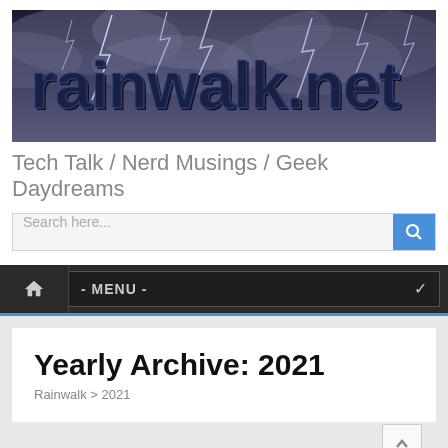[Figure (illustration): Rainwalk.net banner header with lightning storm background and bold stylized text logo 'rainwalk.net']
Tech Talk / Nerd Musings / Geek Daydreams
Search here...
- MENU -
Yearly Archive: 2021
Rainwalk > 2021